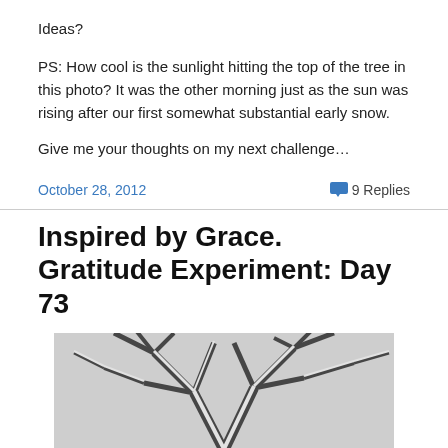Ideas?
PS:  How cool is the sunlight hitting the top of the tree in this photo? It was the other morning just as the sun was rising after our first somewhat substantial early snow.
Give me your thoughts on my next challenge…
October 28, 2012
9 Replies
Inspired by Grace. Gratitude Experiment: Day 73
[Figure (photo): Black and white photo of snow-covered tree branches against a light sky, viewed from below.]